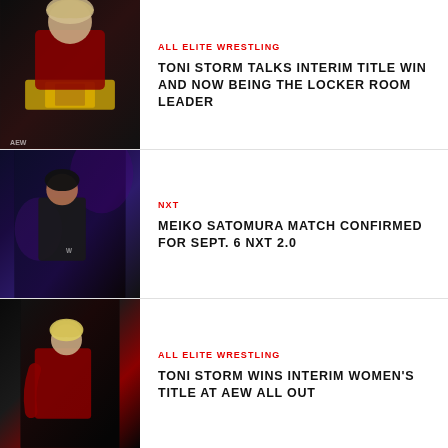[Figure (photo): Toni Storm holding AEW championship belt in red attire against dark background]
ALL ELITE WRESTLING
TONI STORM TALKS INTERIM TITLE WIN AND NOW BEING THE LOCKER ROOM LEADER
[Figure (photo): Female wrestler in dark setting backstage with purple lighting at NXT]
NXT
MEIKO SATOMURA MATCH CONFIRMED FOR SEPT. 6 NXT 2.0
[Figure (photo): Toni Storm in red outfit in dark arena setting]
ALL ELITE WRESTLING
TONI STORM WINS INTERIM WOMEN'S TITLE AT AEW ALL OUT